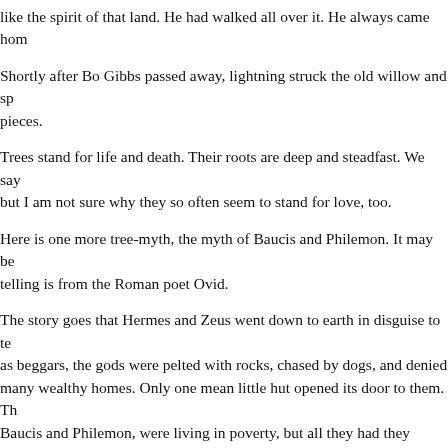like the spirit of that land. He had walked all over it. He always came home
Shortly after Bo Gibbs passed away, lightning struck the old willow and sp pieces.
Trees stand for life and death. Their roots are deep and steadfast. We say but I am not sure why they so often seem to stand for love, too.
Here is one more tree-myth, the myth of Baucis and Philemon. It may be telling is from the Roman poet Ovid.
The story goes that Hermes and Zeus went down to earth in disguise to te as beggars, the gods were pelted with rocks, chased by dogs, and denied many wealthy homes. Only one mean little hut opened its door to them. Th Baucis and Philemon, were living in poverty, but all they had they offered t even made to kill the old gray goose that served as their watch-dog, so tha meat to serve the strangers. But this was too great a gift; Zeus and Herme themselves and forbade the terrified couple to sacrifice so much. Rather, Z would grant the honest pair any one wish of their hearts.
They could have asked for riches, a comfortable home, or anything in the Baucis and Philemon had only one wish: to die at the same moment, so th parted.